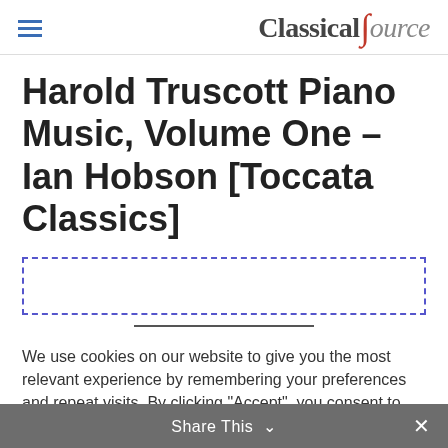ClassicalSource
Harold Truscott Piano Music, Volume One – Ian Hobson [Toccata Classics]
[Figure (other): Dotted purple rectangular border outline, partially visible, with a horizontal dark line beneath it]
We use cookies on our website to give you the most relevant experience by remembering your preferences and repeat visits. By clicking "Accept", you consent to the use of ALL the cookies.
Cookie settings   ACCEPT
Share This ∨  ×